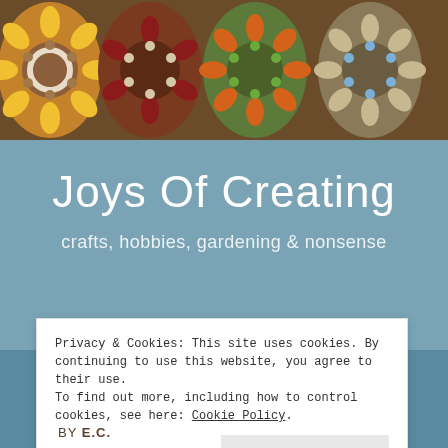[Figure (photo): Banner photo of colorful crochet granny squares arranged in a row, showing yellow, red/maroon, green/orange, and blue/green color combinations against a brown background. Watermark reads @joysofcreating.]
Joys Of Creating
crafts, hobbies, gardening & nonsense
Privacy & Cookies: This site uses cookies. By continuing to use this website, you agree to their use.
To find out more, including how to control cookies, see here: Cookie Policy.
Close and accept
BY E.C.